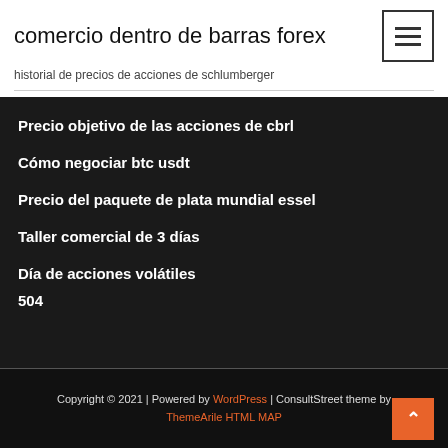comercio dentro de barras forex
historial de precios de acciones de schlumberger
Precio objetivo de las acciones de cbrl
Cómo negociar btc usdt
Precio del paquete de plata mundial essel
Taller comercial de 3 días
Día de acciones volátiles
504
Copyright © 2021 | Powered by WordPress | ConsultStreet theme by ThemeArile HTML MAP